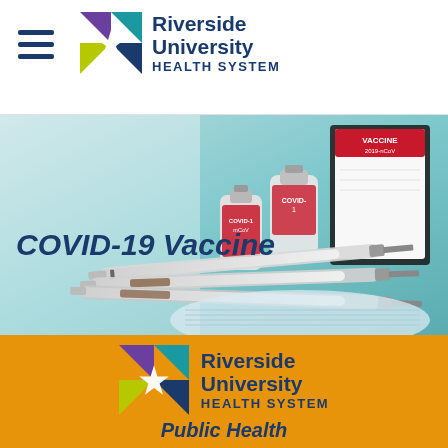[Figure (logo): Riverside University Health System logo in header with hamburger menu icon]
[Figure (photo): COVID-19 vaccine vials, syringes, vaccine box labeled VACCINE 2019-nCoV, and a surgical mask on a teal background]
COVID-19 Vaccine
[Figure (logo): Riverside University Health System Public Health logo on orange background in footer]